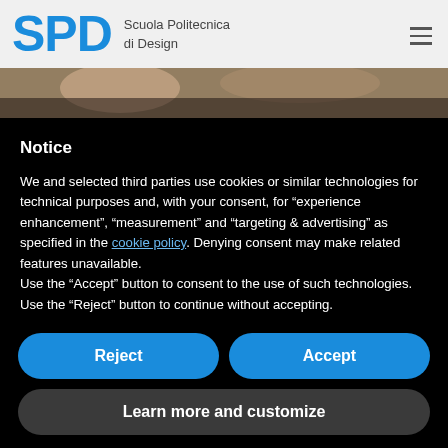SPD Scuola Politecnica di Design
[Figure (photo): Photo strip showing a person in a design/workshop setting]
Notice
We and selected third parties use cookies or similar technologies for technical purposes and, with your consent, for “experience enhancement”, “measurement” and “targeting & advertising” as specified in the cookie policy. Denying consent may make related features unavailable.
Use the “Accept” button to consent to the use of such technologies. Use the “Reject” button to continue without accepting.
Reject
Accept
Learn more and customize